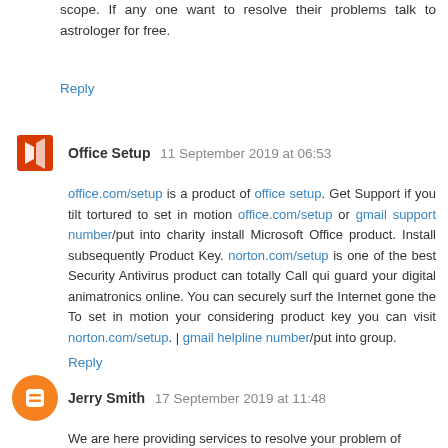scope. If any one want to resolve their problems talk to astrologer for free.
Reply
Office Setup  11 September 2019 at 06:53
office.com/setup is a product of office setup. Get Support if you tilt tortured to set in motion office.com/setup or gmail support number/put into charity install Microsoft Office product. Install subsequently Product Key. norton.com/setup is one of the best Security Antivirus product can totally Call qui guard your digital animatronics online. You can securely surf the Internet gone the To set in motion your considering product key you can visit norton.com/setup. | gmail helpline number/put into group.
Reply
Jerry Smith  17 September 2019 at 11:48
We are here providing services to resolve your problem of